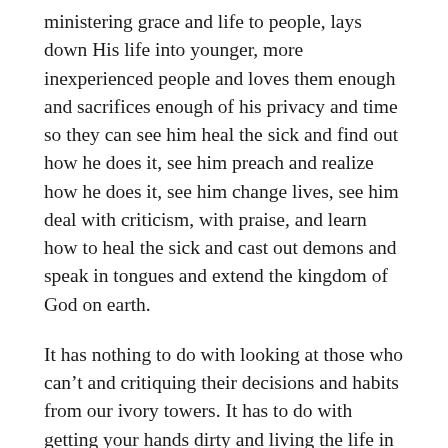ministering grace and life to people, lays down His life into younger, more inexperienced people and loves them enough and sacrifices enough of his privacy and time so they can see him heal the sick and find out how he does it, see him preach and realize how he does it, see him change lives, see him deal with criticism, with praise, and learn how to heal the sick and cast out demons and speak in tongues and extend the kingdom of God on earth.
It has nothing to do with looking at those who can’t and critiquing their decisions and habits from our ivory towers. It has to do with getting your hands dirty and living the life in a transparent way that others can model it.
Of course – if you aren’t doing anything worthwhile no one will ever want to model it! Then of course you need to criticize and attack them because